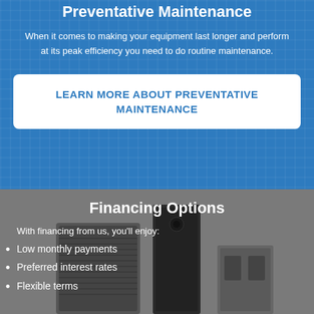Preventative Maintenance
When it comes to making your equipment last longer and perform at its peak efficiency you need to do routine maintenance.
LEARN MORE ABOUT PREVENTATIVE MAINTENANCE
Financing Options
With financing from us, you'll enjoy:
Low monthly payments
Preferred interest rates
Flexible terms
[Figure (photo): HVAC equipment including outdoor condenser unit and indoor air handler units on a grey background]